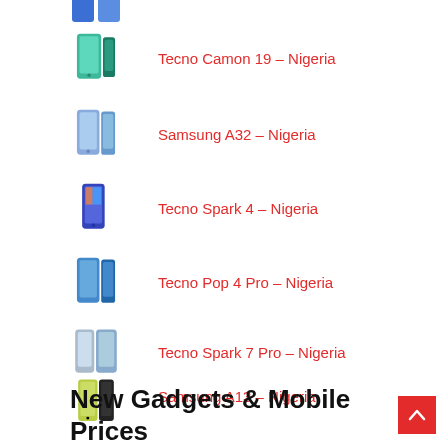Tecno Camon 19 – Nigeria
Samsung A32 – Nigeria
Tecno Spark 4 – Nigeria
Tecno Pop 4 Pro – Nigeria
Tecno Spark 7 Pro – Nigeria
Samsung A13 – Nigeria
New Gadgets & Mobile Prices